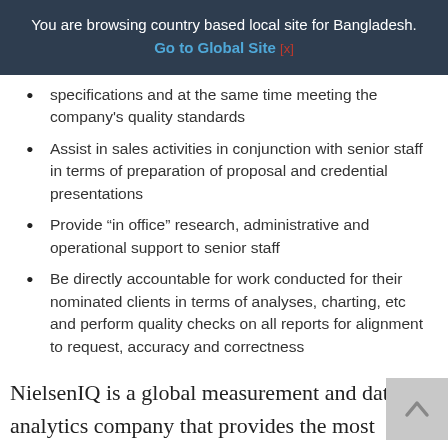You are browsing country based local site for Bangladesh. Go to Global Site [x]
specifications and at the same time meeting the company's quality standards
Assist in sales activities in conjunction with senior staff in terms of preparation of proposal and credential presentations
Provide “in office” research, administrative and operational support to senior staff
Be directly accountable for work conducted for their nominated clients in terms of analyses, charting, etc and perform quality checks on all reports for alignment to request, accuracy and correctness
NielsenIQ is a global measurement and data analytics company that provides the most complete and trusted view available of consumers and markets worldwide. They